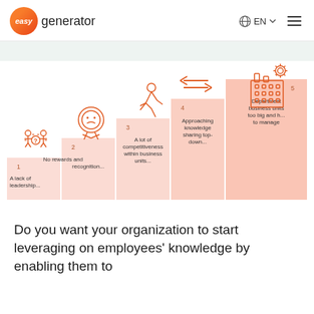easy generator | EN
[Figure (infographic): Staircase infographic with 5 steps, each with an orange icon and number. Step 1: A lack of leadership... Step 2: No rewards and recognition... Step 3: A lot of competitiveness within business units... Step 4: Approaching knowledge sharing top-down... Step 5: Department business units too big and hard to manage. Steps rise left to right with salmon/pink colored bars.]
Do you want your organization to start leveraging on employees' knowledge by enabling them to